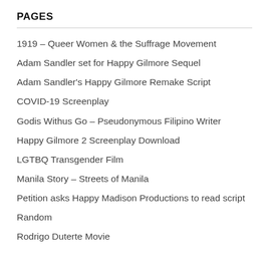PAGES
1919 – Queer Women & the Suffrage Movement
Adam Sandler set for Happy Gilmore Sequel
Adam Sandler's Happy Gilmore Remake Script
COVID-19 Screenplay
Godis Withus Go – Pseudonymous Filipino Writer
Happy Gilmore 2 Screenplay Download
LGTBQ Transgender Film
Manila Story – Streets of Manila
Petition asks Happy Madison Productions to read script
Random
Rodrigo Duterte Movie